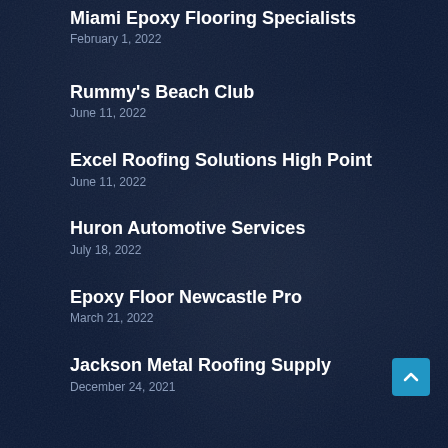Miami Epoxy Flooring Specialists
February 1, 2022
Rummy's Beach Club
June 11, 2022
Excel Roofing Solutions High Point
June 11, 2022
Huron Automotive Services
July 18, 2022
Epoxy Floor Newcastle Pro
March 21, 2022
Jackson Metal Roofing Supply
December 24, 2021